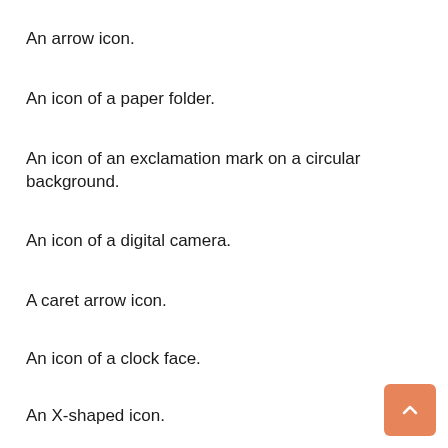An arrow icon.
An icon of a paper folder.
An icon of an exclamation mark on a circular background.
An icon of a digital camera.
A caret arrow icon.
An icon of a clock face.
An X-shaped icon.
An icon used to represent where to interact to minimize or close a component.